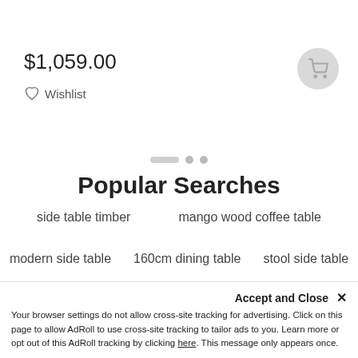$1,059.00
Wishlist
Popular Searches
side table timber
mango wood coffee table
modern side table
160cm dining table
stool side table
MODERN...
Accept and Close ✕
Your browser settings do not allow cross-site tracking for advertising. Click on this page to allow AdRoll to use cross-site tracking to tailor ads to you. Learn more or opt out of this AdRoll tracking by clicking here. This message only appears once.